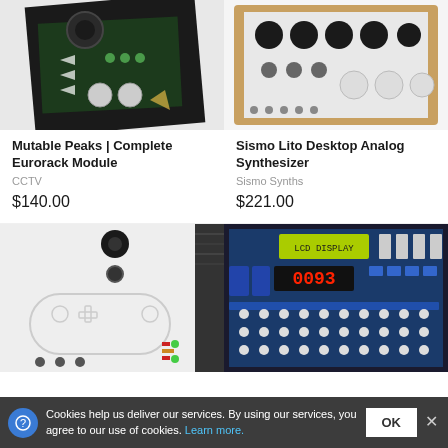[Figure (photo): Top-left product: Mutable Peaks Eurorack module with black panel, knobs, and circuit board visible]
Mutable Peaks | Complete Eurorack Module
CCTV
$140.00
[Figure (photo): Top-right product: Sismo Lito Desktop Analog Synthesizer with white panel and wooden frame, multiple knobs and patch points]
Sismo Lito Desktop Analog Synthesizer
Sismo Synths
$221.00
[Figure (photo): Bottom-left product: White panel electronic device with gamepad/controller silhouette artwork, knobs and audio jacks]
[Figure (photo): Bottom-right product: Blue circuit board with LCD display, red LED digits showing 0093, buttons and components]
Cookies help us deliver our services. By using our services, you agree to our use of cookies. Learn more.